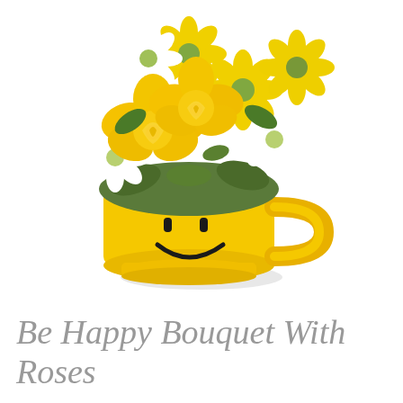[Figure (illustration): A yellow smiley face ceramic mug/teacup used as a vase holding a bouquet of yellow roses, yellow daisies, and white daisies with green foliage, on a white background with a subtle shadow beneath the mug.]
Be Happy Bouquet With Roses